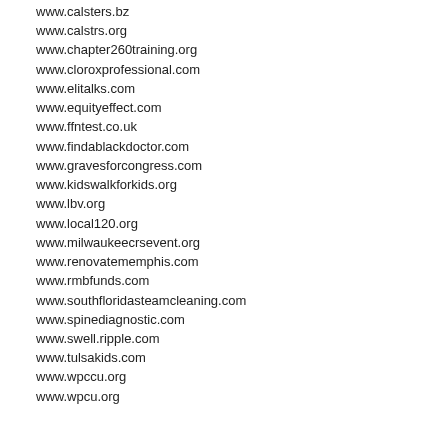www.calsters.bz
www.calstrs.org
www.chapter260training.org
www.cloroxprofessional.com
www.elitalks.com
www.equityeffect.com
www.ffntest.co.uk
www.findablackdoctor.com
www.gravesforcongress.com
www.kidswalkforkids.org
www.lbv.org
www.local120.org
www.milwaukeecrsevent.org
www.renovatememphis.com
www.rmbfunds.com
www.southfloridasteamcleaning.com
www.spinediagnostic.com
www.swell.ripple.com
www.tulsakids.com
www.wpccu.org
www.wpcu.org